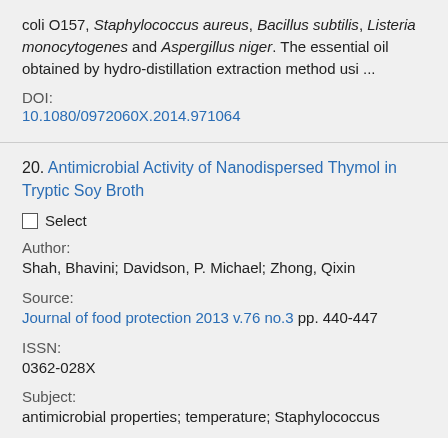coli O157, Staphylococcus aureus, Bacillus subtilis, Listeria monocytogenes and Aspergillus niger. The essential oil obtained by hydro-distillation extraction method usi ...
DOI:
10.1080/0972060X.2014.971064
20. Antimicrobial Activity of Nanodispersed Thymol in Tryptic Soy Broth
Select
Author:
Shah, Bhavini; Davidson, P. Michael; Zhong, Qixin
Source:
Journal of food protection 2013 v.76 no.3 pp. 440-447
ISSN:
0362-028X
Subject:
antimicrobial properties; temperature; Staphylococcus